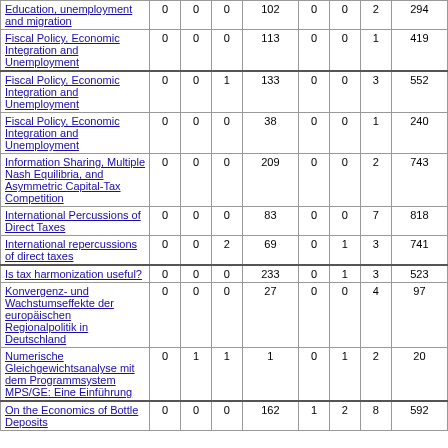| Title | Col1 | Col2 | Col3 | Col4 | Col5 | Col6 | Col7 | Col8 |
| --- | --- | --- | --- | --- | --- | --- | --- | --- |
| Education, unemployment and migration | 0 | 0 | 0 | 102 | 0 | 0 | 2 | 294 |
| Fiscal Policy, Economic Integration and Unemployment | 0 | 0 | 0 | 113 | 0 | 0 | 1 | 419 |
| Fiscal Policy, Economic Integration and Unemployment | 0 | 0 | 1 | 133 | 0 | 0 | 3 | 552 |
| Fiscal Policy, Economic Integration and Unemployment | 0 | 0 | 0 | 38 | 0 | 0 | 1 | 240 |
| Information Sharing, Multiple Nash Equilibria, and Asymmetric Capital-Tax Competition | 0 | 0 | 0 | 209 | 0 | 0 | 2 | 743 |
| International Percussions of Direct Taxes | 0 | 0 | 0 | 83 | 0 | 0 | 7 | 818 |
| International repercussions of direct taxes | 0 | 0 | 2 | 69 | 0 | 1 | 3 | 741 |
| Is tax harmonization useful? | 0 | 0 | 0 | 233 | 0 | 1 | 3 | 523 |
| Konvergenz- und Wachstumseffekte der europäischen Regionalpolitik in Deutschland | 0 | 0 | 0 | 27 | 0 | 0 | 4 | 97 |
| Numerische Gleichgewichtsanalyse mit dem Programmsystem MPS/GE: Eine Einführung | 0 | 1 | 1 | 1 | 0 | 1 | 2 | 20 |
| On the Economics of Bottle Deposits | 0 | 0 | 0 | 162 | 1 | 2 | 8 | 592 |